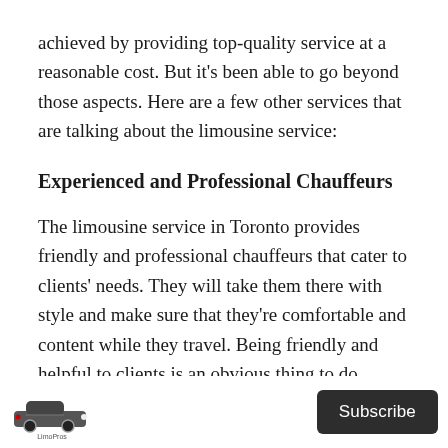achieved by providing top-quality service at a reasonable cost. But it's been able to go beyond those aspects. Here are a few other services that are talking about the limousine service:
Experienced and Professional Chauffeurs
The limousine service in Toronto provides friendly and professional chauffeurs that cater to clients' needs. They will take them there with style and make sure that they're comfortable and content while they travel. Being friendly and helpful to clients is an obvious thing to do however not every company
Subscribe